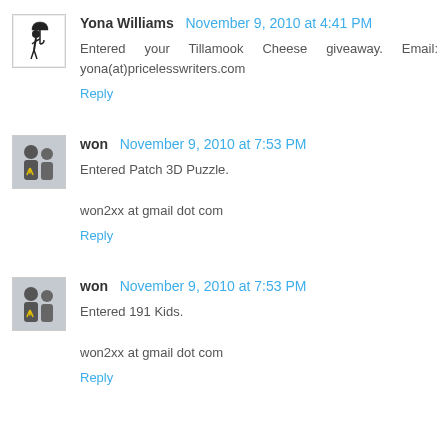Yona Williams November 9, 2010 at 4:41 PM
Entered your Tillamook Cheese giveaway. Email: yona(at)pricelesswriters.com
Reply
won November 9, 2010 at 7:53 PM
Entered Patch 3D Puzzle.
won2xx at gmail dot com
Reply
won November 9, 2010 at 7:53 PM
Entered 191 Kids.
won2xx at gmail dot com
Reply